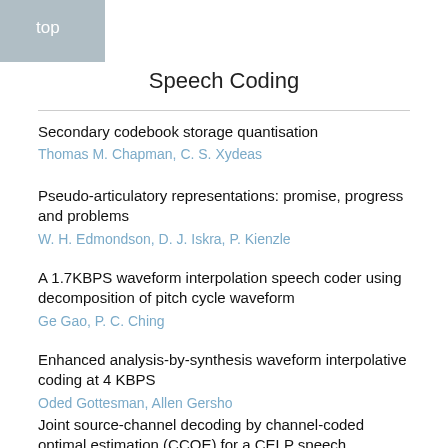top
Speech Coding
Secondary codebook storage quantisation
Thomas M. Chapman, C. S. Xydeas
Pseudo-articulatory representations: promise, progress and problems
W. H. Edmondson, D. J. Iskra, P. Kienzle
A 1.7KBPS waveform interpolation speech coder using decomposition of pitch cycle waveform
Ge Gao, P. C. Ching
Enhanced analysis-by-synthesis waveform interpolative coding at 4 KBPS
Oded Gottesman, Allen Gersho
Joint source-channel decoding by channel-coded optimal estimation (CCOE) for a CELP speech